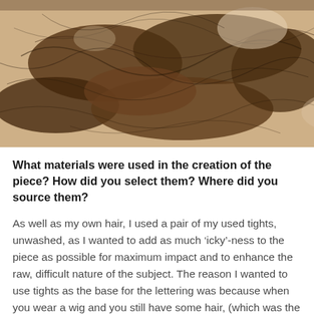[Figure (photo): Close-up photograph of tangled brown hair clumps on a light background, showing loose strands and matted clusters of hair.]
What materials were used in the creation of the piece? How did you select them? Where did you source them?
As well as my own hair, I used a pair of my used tights, unwashed, as I wanted to add as much 'icky'-ness to the piece as possible for maximum impact and to enhance the raw, difficult nature of the subject. The reason I wanted to use tights as the base for the lettering was because when you wear a wig and you still have some hair, (which was the case for mum at the beginning), you